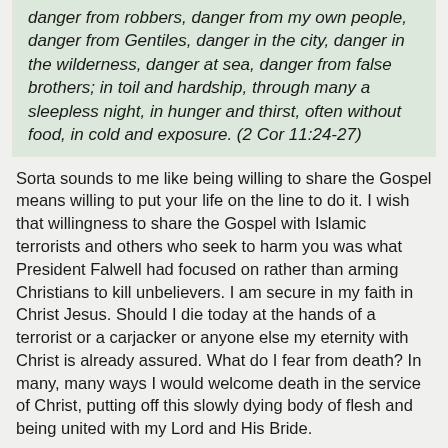danger from robbers, danger from my own people, danger from Gentiles, danger in the city, danger in the wilderness, danger at sea, danger from false brothers; in toil and hardship, through many a sleepless night, in hunger and thirst, often without food, in cold and exposure. (2 Cor 11:24-27)
Sorta sounds to me like being willing to share the Gospel means willing to put your life on the line to do it. I wish that willingness to share the Gospel with Islamic terrorists and others who seek to harm you was what President Falwell had focused on rather than arming Christians to kill unbelievers. I am secure in my faith in Christ Jesus. Should I die today at the hands of a terrorist or a carjacker or anyone else my eternity with Christ is already assured. What do I fear from death? In many, many ways I would welcome death in the service of Christ, putting off this slowly dying body of flesh and being united with my Lord and His Bride.
It would be bad enough if the article ended there. It did not. Falwell got roped into a broader discussion about violence and non-resistance and made an utter mess of it.